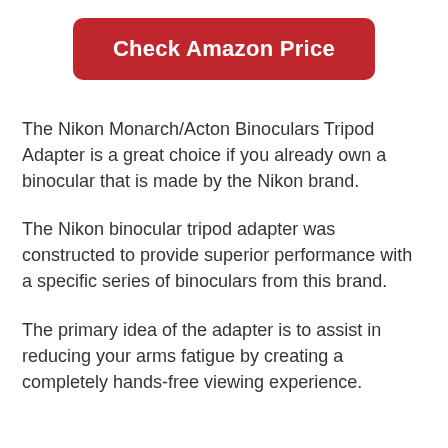[Figure (other): Red rounded rectangle button with white bold text reading 'Check Amazon Price']
The Nikon Monarch/Acton Binoculars Tripod Adapter is a great choice if you already own a binocular that is made by the Nikon brand.
The Nikon binocular tripod adapter was constructed to provide superior performance with a specific series of binoculars from this brand.
The primary idea of the adapter is to assist in reducing your arms fatigue by creating a completely hands-free viewing experience.